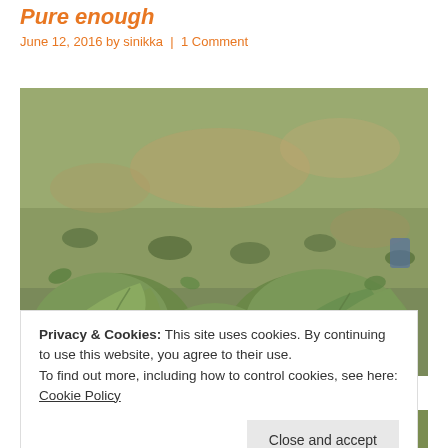Pure enough
June 12, 2016 by sinikka | 1 Comment
[Figure (photo): Photograph of large leafy green plants (collard greens or similar brassica) growing in a garden with a grass lawn background]
Privacy & Cookies: This site uses cookies. By continuing to use this website, you agree to their use.
To find out more, including how to control cookies, see here: Cookie Policy
[Figure (photo): Partial photograph of rhubarb or similar colorful garden plants at the bottom of the page]